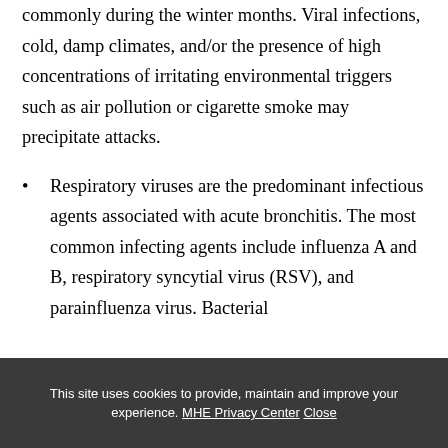commonly during the winter months. Viral infections, cold, damp climates, and/or the presence of high concentrations of irritating environmental triggers such as air pollution or cigarette smoke may precipitate attacks.
Respiratory viruses are the predominant infectious agents associated with acute bronchitis. The most common infecting agents include influenza A and B, respiratory syncytial virus (RSV), and parainfluenza virus. Bacterial
This site uses cookies to provide, maintain and improve your experience. MHE Privacy Center Close